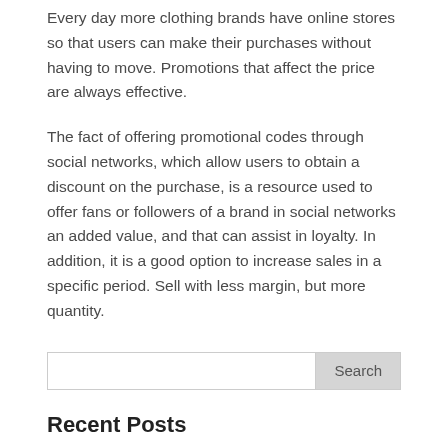Every day more clothing brands have online stores so that users can make their purchases without having to move. Promotions that affect the price are always effective.
The fact of offering promotional codes through social networks, which allow users to obtain a discount on the purchase, is a resource used to offer fans or followers of a brand in social networks an added value, and that can assist in loyalty. In addition, it is a good option to increase sales in a specific period. Sell with less margin, but more quantity.
Recent Posts
Stihl ms 261 reviews- Pros, Cons and The Best Price